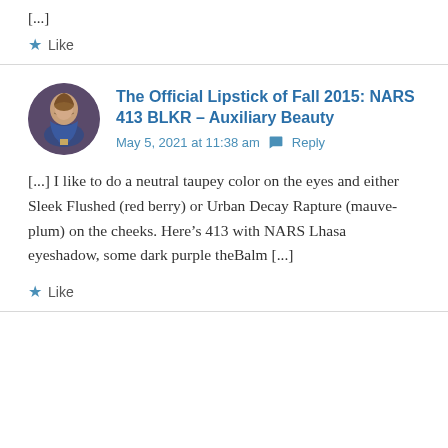[...]
Like
The Official Lipstick of Fall 2015: NARS 413 BLKR – Auxiliary Beauty
May 5, 2021 at 11:38 am  Reply
[...] I like to do a neutral taupey color on the eyes and either Sleek Flushed (red berry) or Urban Decay Rapture (mauve-plum) on the cheeks. Here's 413 with NARS Lhasa eyeshadow, some dark purple theBalm [...]
Like